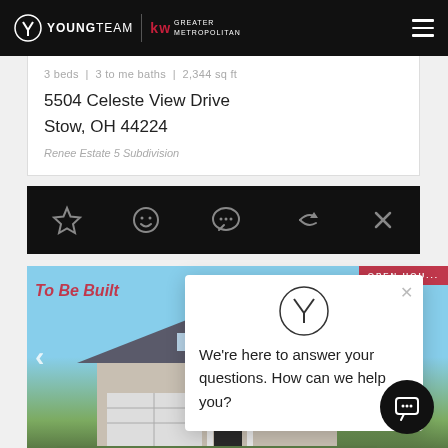YOUNGTEAM | KW GREATER METROPOLITAN
3 beds | 3 to me baths | 2,344 sq ft
5504 Celeste View Drive
Stow, OH 44224
Renee Estate 5 Subdivision
[Figure (screenshot): Black action bar with icons: star, smiley face, chat bubble, share arrow, close (X)]
[Figure (photo): Property listing photo of a two-story house with garage, with 'To Be Built' text overlay and 'OPEN HOUSE' badge in red]
We're here to answer your questions. How can we help you?